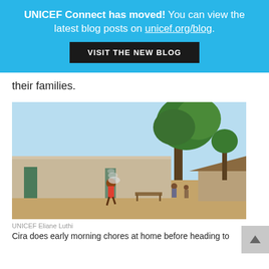UNICEF Connect has moved! You can view the latest blog posts on unicef.org/blog. VISIT THE NEW BLOG
their families.
[Figure (photo): Outdoor scene showing a person doing chores in front of mud-brick buildings with a large tree in the background, smoke visible, rural African village setting.]
UNICEF Eliane Luthi
Cira does early morning chores at home before heading to